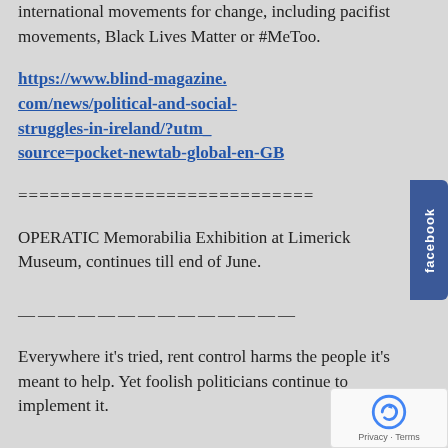international movements for change, including pacifist movements, Black Lives Matter or #MeToo.
https://www.blind-magazine.com/news/political-and-social-struggles-in-ireland/?utm_source=pocket-newtab-global-en-GB
============================
OPERATIC Memorabilia Exhibition at Limerick Museum, continues till end of June.
——————————————
Everywhere it's tried, rent control harms the people it's meant to help. Yet foolish politicians continue to implement it.